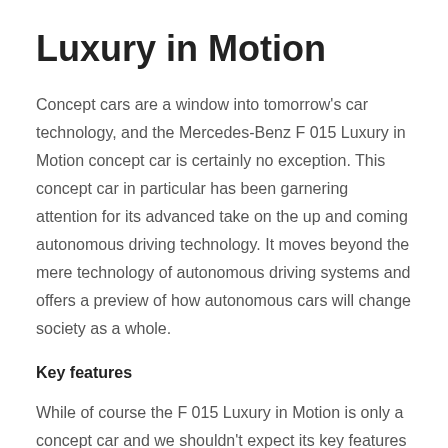Luxury in Motion
Concept cars are a window into tomorrow's car technology, and the Mercedes-Benz F 015 Luxury in Motion concept car is certainly no exception. This concept car in particular has been garnering attention for its advanced take on the up and coming autonomous driving technology. It moves beyond the mere technology of autonomous driving systems and offers a preview of how autonomous cars will change society as a whole.
Key features
While of course the F 015 Luxury in Motion is only a concept car and we shouldn't expect its key features to